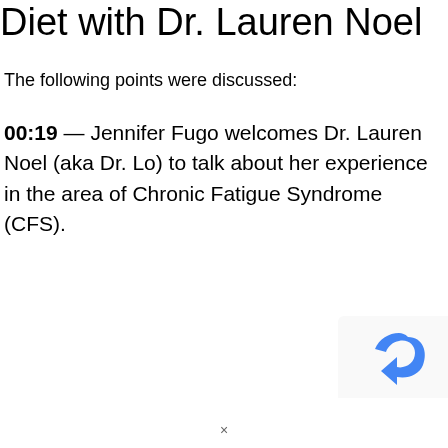Diet with Dr. Lauren Noel
The following points were discussed:
00:19 — Jennifer Fugo welcomes Dr. Lauren Noel (aka Dr. Lo) to talk about her experience in the area of Chronic Fatigue Syndrome (CFS).
[Figure (logo): reCAPTCHA logo — blue arrow curved shape on white background]